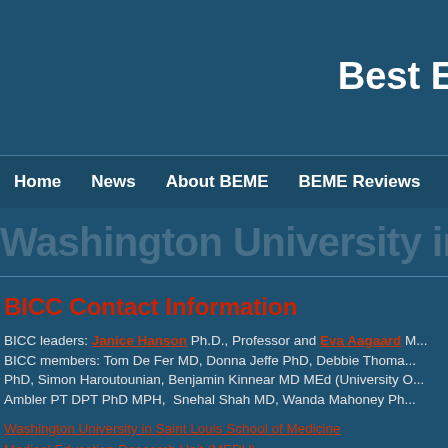Best B
Home  News  About BEME  BEME Reviews  Publications
Washington University in Saint Lo
BICC Contact Information
BICC leaders: Janice Hanson Ph.D., Professor and Eva Aagaard M... BICC members: Tom De Fer MD, Donna Jeffe PhD, Debbie Thomas PhD, Simon Haroutounian, Benjamin Kinnear MD MEd (University O... Ambler PT DPT PhD MPH,  Snehal Shah MD, Wanda Mahoney Ph...
Washington University in Saint Louis School of Medicine
Medical Education Research Unit (MERU)